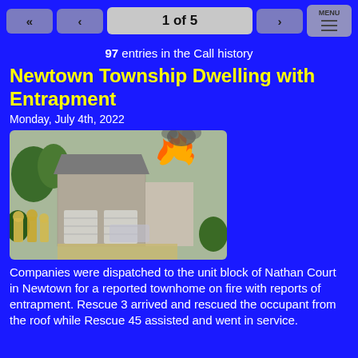1 of 5
97 entries in the Call history
Newtown Township Dwelling with Entrapment
Monday, July 4th, 2022
[Figure (photo): Firefighters in gear at scene of a townhome fire with flames visible at the roofline and smoke rising from the structure.]
Companies were dispatched to the unit block of Nathan Court in Newtown for a reported townhome on fire with reports of entrapment. Rescue 3 arrived and rescued the occupant from the roof while Rescue 45 assisted and went in service.